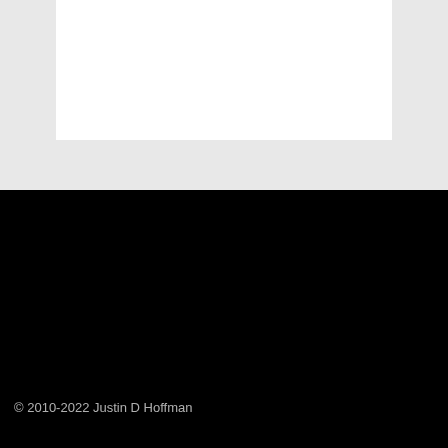[Figure (other): White rectangle on light gray textured background, representing a webpage screenshot header area]
© 2010-2022 Justin D Hoffman
Articles
Author
500 Words
Portfolio
Projects